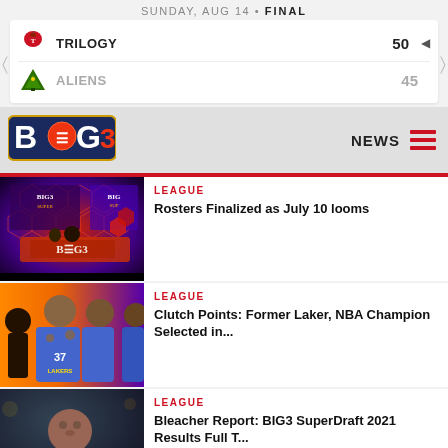SUNDAY, AUG 14 • FINAL
TRILOGY 50 | ALIENS 45
[Figure (logo): BIG3 basketball league logo]
NEWS
[Figure (photo): BIG3 SuperDraft broadcast set with hexagonal display panels]
LEAGUE
Rosters Finalized as July 10 looms
[Figure (photo): Lakers players in blue uniforms including number 37]
LEAGUE
Clutch Points: Former Laker, NBA Champion Selected in...
[Figure (photo): Basketball player looking up in green uniform]
LEAGUE
Bleacher Report: BIG3 SuperDraft 2021 Results Full T...